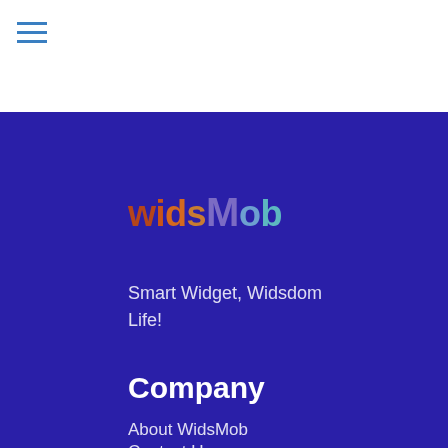[Figure (logo): Hamburger menu icon with three horizontal blue lines]
[Figure (logo): WidsMob logo in colorful gradient text on dark blue background]
Smart Widget, Widsdom Life!
Company
About WidsMob
Contact Us
Terms of Use